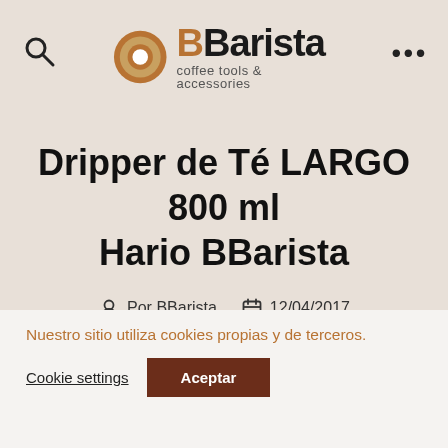BBarista coffee tools & accessories
Dripper de Té LARGO 800 ml Hario BBarista
Por BBarista  12/04/2017
Nuestro sitio utiliza cookies propias y de terceros.
Cookie settings  Aceptar